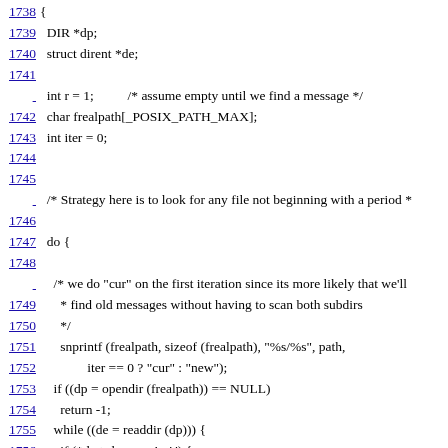Code listing lines 1738-1759, C source code showing directory scanning logic